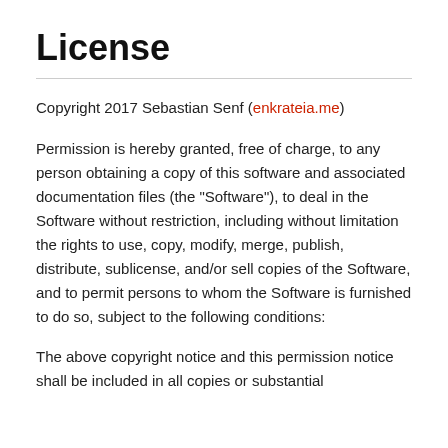License
Copyright 2017 Sebastian Senf (enkrateia.me)
Permission is hereby granted, free of charge, to any person obtaining a copy of this software and associated documentation files (the "Software"), to deal in the Software without restriction, including without limitation the rights to use, copy, modify, merge, publish, distribute, sublicense, and/or sell copies of the Software, and to permit persons to whom the Software is furnished to do so, subject to the following conditions:
The above copyright notice and this permission notice shall be included in all copies or substantial